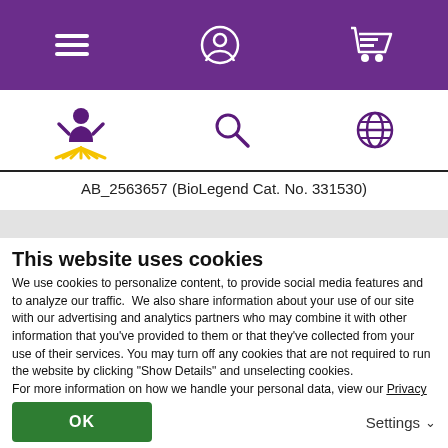[Figure (screenshot): Purple navigation header bar with hamburger menu icon, user/account icon, and shopping cart icon in white]
[Figure (screenshot): White secondary navigation bar with BioLegend logo (person with rays), search magnifying glass icon, and globe/language icon in purple]
AB_2563657 (BioLegend Cat. No. 331530)
...tion Details (blurred/partially visible)
This website uses cookies
We use cookies to personalize content, to provide social media features and to analyze our traffic.  We also share information about your use of our site with our advertising and analytics partners who may combine it with other information that you've provided to them or that they've collected from your use of their services. You may turn off any cookies that are not required to run the website by clicking “Show Details” and unselecting cookies.
For more information on how we handle your personal data, view our Privacy Policy.
OK
Settings